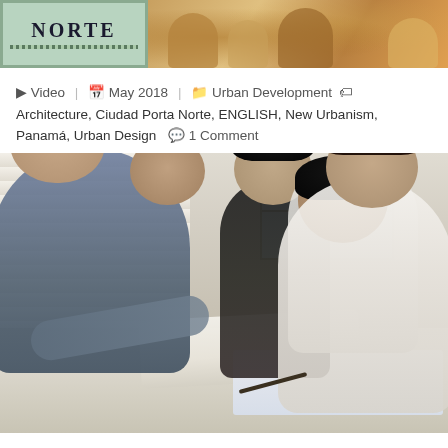[Figure (photo): Top banner showing Ciudad Porta Norte logo on left (green/teal decorative border with 'NORTE' text) and a photo of people on the right with warm orange/yellow tones]
▶ Video   📅 May 2018   🗂 Urban Development   🏷 Architecture, Ciudad Porta Norte, ENGLISH, New Urbanism, Panamá, Urban Design   💬 1 Comment
[Figure (photo): Photo of five people sitting and standing around a table reviewing architectural plans/blueprints and rolled paper documents in a meeting room with white curtains and a window in the background]